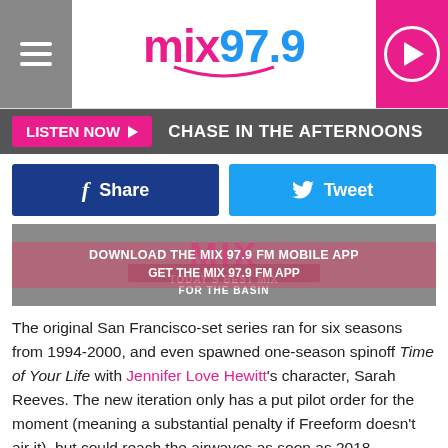mix97.9
LISTEN NOW ▶  CHASE IN THE AFTERNOONS
Share   Tweet
[Figure (other): Mix 97.9 FM logo banner reading 'TODAY'S BEST MIX FOR THE BASIN' with download app overlay]
The original San Francisco-set series ran for six seasons from 1994-2000, and even spawned one-season spinoff Time of Your Life with Jennifer Love Hewitt's character, Sarah Reeves. The new iteration only has a put pilot order for the moment (meaning a substantial penalty if Freeform doesn't air it), but could reach the airwaves as soon as 2018.
Everybody wants to be closer to free, but will a new iteration of Party of Five have the same impact with a more topical